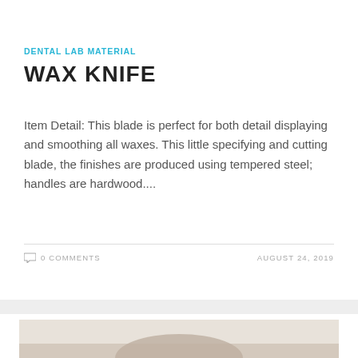[Figure (photo): Partial view of a dental wax knife product image at top of card, white/gray background]
DENTAL LAB MATERIAL
WAX KNIFE
Item Detail: This blade is perfect for both detail displaying and smoothing all waxes. This little specifying and cutting blade, the finishes are produced using tempered steel; handles are hardwood....
0 COMMENTS
AUGUST 24, 2019
[Figure (photo): Bottom portion of page showing a partial product image with beige/cream colored background, beginning of another product card]